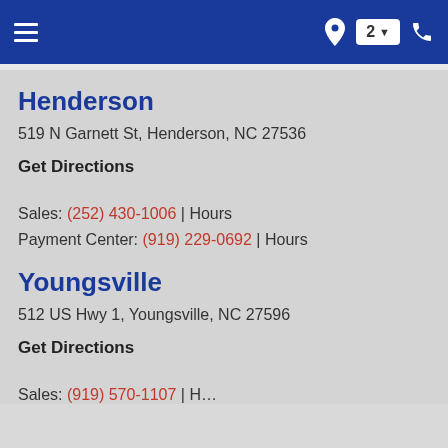Navigation bar with hamburger menu, location pin, badge '2', and phone icon
Henderson
519 N Garnett St, Henderson, NC 27536
Get Directions
Sales: (252) 430-1006 | Hours
Payment Center: (919) 229-0692 | Hours
Youngsville
512 US Hwy 1, Youngsville, NC 27596
Get Directions
Sales: (919) 570-1107 | Hours (partial)